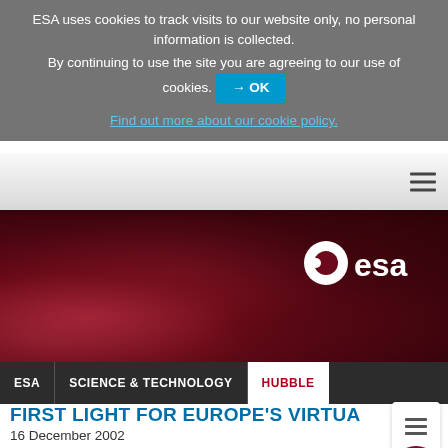ESA uses cookies to track visits to our website only, no personal information is collected.
By continuing to use the site you are agreeing to our use of cookies. → OK
Find out more about our cookie policy.
[Figure (screenshot): ESA website navigation bar with hamburger menu icon on the right, white/grey gradient background]
[Figure (photo): Dark red nebula/space background image with ESA logo (white circular e logo with 'esa' text) in top right corner]
ESA   SCIENCE & TECHNOLOGY   HUBBLE
FIRST LIGHT FOR EUROPE'S VIRTUAL OBSERVA...
16 December 2002
Imagine you are an astronomer with instant, fingertip access to all existing observations of a given object and the opportunity to sift